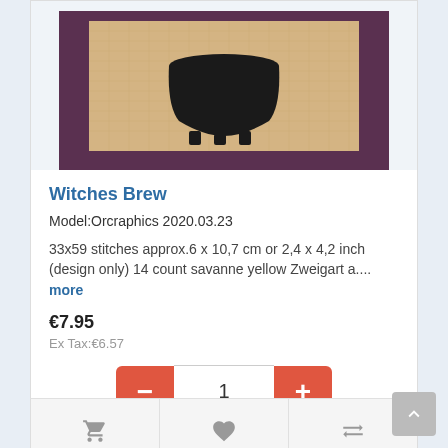[Figure (photo): Cross-stitch of a black cauldron (Witches Brew) in a dark purple frame, partially cropped at top]
Witches Brew
Model:Orcraphics 2020.03.23
33x59 stitches approx.6 x 10,7 cm or 2,4 x 4,2 inch (design only) 14 count savanne yellow Zweigart a.... more
€7.95
Ex Tax:€6.57
[Figure (screenshot): Quantity selector with minus button, input showing 1, and plus button]
[Figure (screenshot): Action bar with cart icon, heart icon, and compare icon]
[Figure (photo): Cross-stitch of a jack-o-lantern pumpkin in an orange frame, partially cropped at bottom]